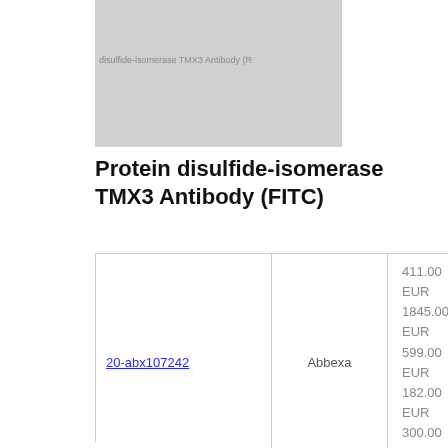[Figure (other): Partially visible grey thumbnail image of a product page, with faint text reading 'protein disulfide-isomerase TMX3 Antibody (R...']
Protein disulfide-isomerase TMX3 Antibody (FITC)
|  |  |  |
| --- | --- | --- |
| 20-abx107242 | Abbexa | 411.00 EUR 1845.00 EUR 599.00 EUR 182.00 EUR 300.00 EUR |
|  |  |  |